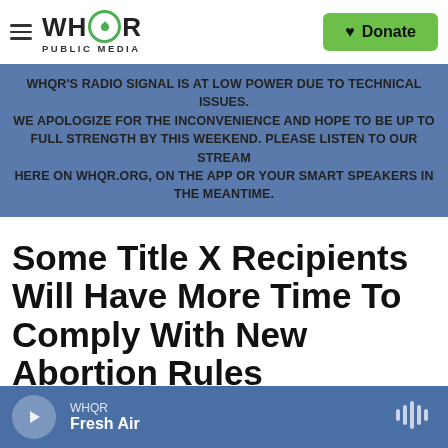WHQR PUBLIC MEDIA — Donate
WHQR'S RADIO SIGNAL IS AT LOW POWER DUE TO TECHNICAL ISSUES. WE APOLOGIZE FOR THE INCONVENIENCE AND HOPE TO BE UP TO FULL STRENGTH BY THIS WEEKEND. PLEASE LISTEN TO OUR STREAM HERE ON WHQR.ORG, ON THE APP OR YOUR SMART SPEAKERS IN THE MEANTIME.
Some Title X Recipients Will Have More Time To Comply With New Abortion Rules
WHQR Fresh Air